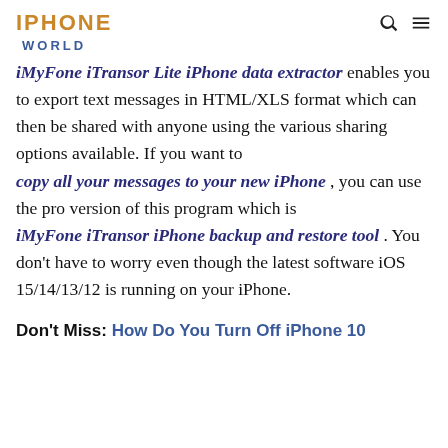IPHONE
WORLD
iMyFone iTransor Lite iPhone data extractor enables you to export text messages in HTML/XLS format which can then be shared with anyone using the various sharing options available. If you want to copy all your messages to your new iPhone , you can use the pro version of this program which is iMyFone iTransor iPhone backup and restore tool . You don't have to worry even though the latest software iOS 15/14/13/12 is running on your iPhone.
Don't Miss:  How Do You Turn Off iPhone 10